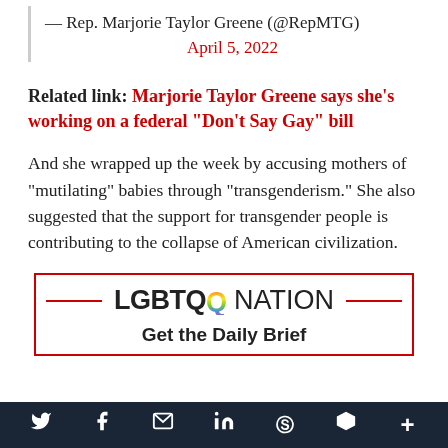— Rep. Marjorie Taylor Greene (@RepMTG)
April 5, 2022
Related link: Marjorie Taylor Greene says she’s working on a federal “Don’t Say Gay” bill
And she wrapped up the week by accusing mothers of “mutilating” babies through “transgenderism.” She also suggested that the support for transgender people is contributing to the collapse of American civilization.
[Figure (logo): LGBTQ Nation logo with rainbow Q and horizontal red lines on each side]
Get the Daily Brief
Social media share bar: Twitter, Facebook, Mail, LinkedIn, WhatsApp, Flipboard, More